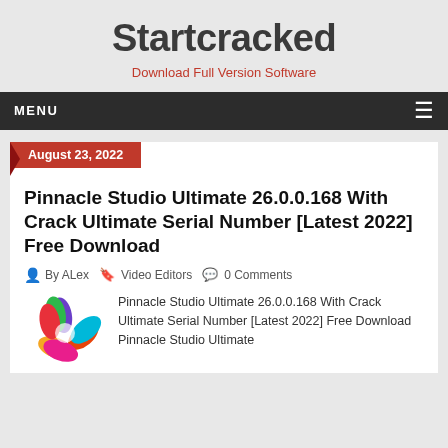Startcracked
Download Full Version Software
MENU
August 23, 2022
Pinnacle Studio Ultimate 26.0.0.168 With Crack Ultimate Serial Number [Latest 2022] Free Download
By ALex   Video Editors   0 Comments
Pinnacle Studio Ultimate 26.0.0.168 With Crack Ultimate Serial Number [Latest 2022] Free Download Pinnacle Studio Ultimate